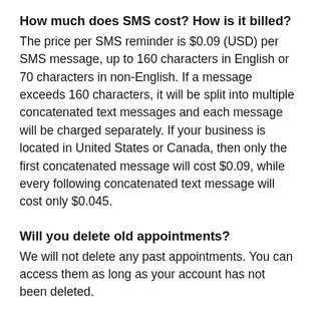How much does SMS cost? How is it billed?
The price per SMS reminder is $0.09 (USD) per SMS message, up to 160 characters in English or 70 characters in non-English. If a message exceeds 160 characters, it will be split into multiple concatenated text messages and each message will be charged separately. If your business is located in United States or Canada, then only the first concatenated message will cost $0.09, while every following concatenated text message will cost only $0.045.
Will you delete old appointments?
We will not delete any past appointments. You can access them as long as your account has not been deleted.
Can I change the look of my booking page with CSS?
Currently, it's not possible to change the look of your